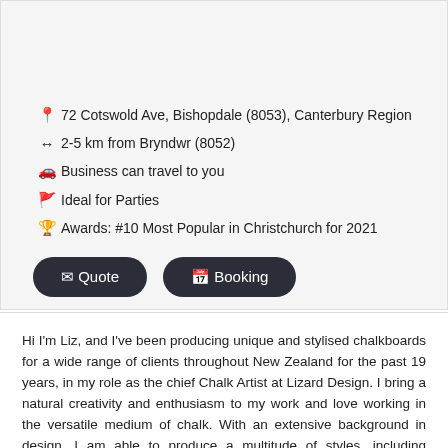72 Cotswold Ave, Bishopdale (8053), Canterbury Region
2-5 km from Bryndwr (8052)
Business can travel to you
Ideal for Parties
Awards: #10 Most Popular in Christchurch for 2021
Hi I'm Liz, and I've been producing unique and stylised chalkboards for a wide range of clients throughout New Zealand for the past 19 years, in my role as the chief Chalk Artist at Lizard Design. I bring a natural creativity and enthusiasm to my work and love working in the versatile medium of chalk. With an extensive background in design, I am able to produce a multitude of styles, including caricatures, realistic products, people, and pets, stylised menus, illustrations, creative fonts and